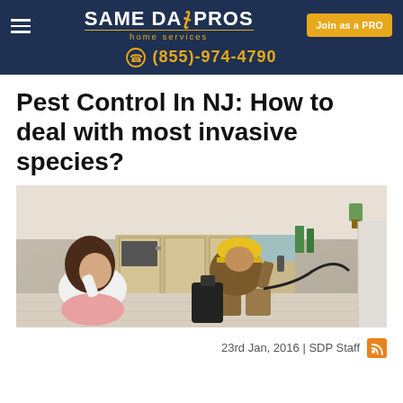SAME DAY PROS home services | (855)-974-4790 | Join as a PRO
Pest Control In NJ: How to deal with most invasive species?
[Figure (photo): A woman sitting on the kitchen floor looking distressed while a pest control worker in a yellow hard hat crouches down inspecting a wall with a flashlight and sprayer.]
23rd Jan, 2016 | SDP Staff